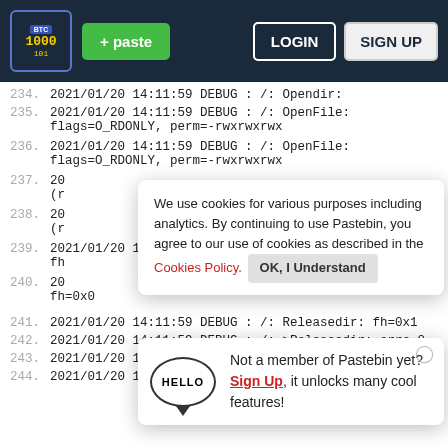Pastebin header with logo, paste button, LOGIN and SIGN UP buttons
234. 2021/01/20 14:11:59 DEBUG : /: Opendir:
235. 2021/01/20 14:11:59 DEBUG : /: OpenFile:
     flags=O_RDONLY, perm=-rwxrwxrwx
236. 2021/01/20 14:11:59 DEBUG : /: OpenFile:
     flags=O_RDONLY, perm=-rwxrwxrwx
237. 20
     (r
238. 20
     (r
239. 2021/01/20 14:11:59 DEBUG : /: >Opendir: errc=0
     fh
240. 20
     fh=0x0
241. 2021/01/20 14:11:59 DEBUG : /: Releasedir: fh=0x1
242. 2021/01/20 14:11:59 DEBUG : /: >Releasedir: errc=0
243. 2021/01/20 14:11:59 DEBUG : /: Releasedir: fh=0x0
244. 2021/01/20 14:11:59 DEBUG : /: Getattr:
[Figure (screenshot): Cookie consent popup: 'We use cookies for various purposes including analytics. By continuing to use Pastebin, you agree to our use of cookies as described in the Cookies Policy. OK, I Understand']
[Figure (screenshot): Sign-up prompt popup: Hello speech bubble icon, 'Not a member of Pastebin yet? Sign Up, it unlocks many cool features!']